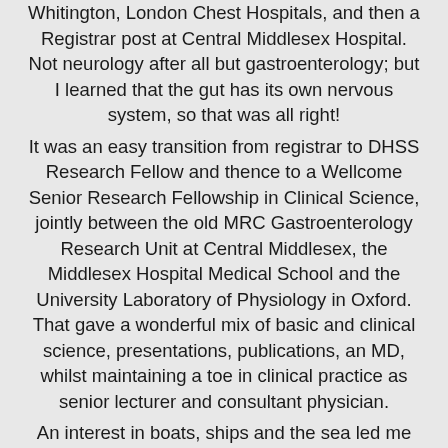Whitington, London Chest Hospitals, and then a Registrar post at Central Middlesex Hospital. Not neurology after all but gastroenterology; but I learned that the gut has its own nervous system, so that was all right!
It was an easy transition from registrar to DHSS Research Fellow and thence to a Wellcome Senior Research Fellowship in Clinical Science, jointly between the old MRC Gastroenterology Research Unit at Central Middlesex, the Middlesex Hospital Medical School and the University Laboratory of Physiology in Oxford. That gave a wonderful mix of basic and clinical science, presentations, publications, an MD, whilst maintaining a toe in clinical practice as senior lecturer and consultant physician.
An interest in boats, ships and the sea led me to join